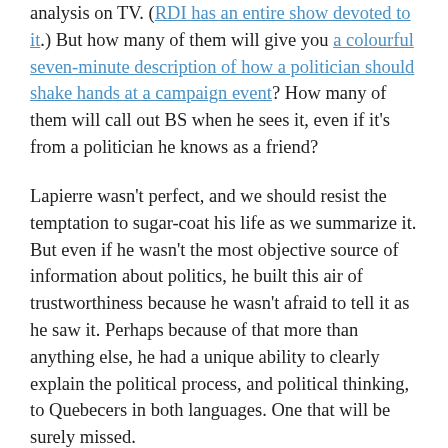analysis on TV. (RDI has an entire show devoted to it.) But how many of them will give you a colourful seven-minute description of how a politician should shake hands at a campaign event? How many of them will call out BS when he sees it, even if it's from a politician he knows as a friend?
Lapierre wasn't perfect, and we should resist the temptation to sugar-coat his life as we summarize it. But even if he wasn't the most objective source of information about politics, he built this air of trustworthiness because he wasn't afraid to tell it as he saw it. Perhaps because of that more than anything else, he had a unique ability to clearly explain the political process, and political thinking, to Quebecers in both languages. One that will be surely missed.
And he was someone who enjoyed what he did, who was very successful at it, and made a lot of friends doing it.
We should all be so lucky.